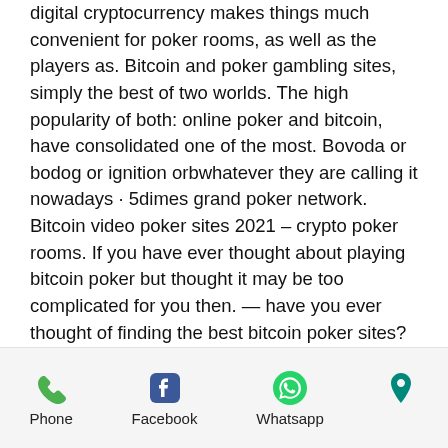digital cryptocurrency makes things much convenient for poker rooms, as well as the players as. Bitcoin and poker gambling sites, simply the best of two worlds. The high popularity of both: online poker and bitcoin, have consolidated one of the most. Bovoda or bodog or ignition orbwhatever they are calling it nowadays · 5dimes grand poker network. Bitcoin video poker sites 2021 – crypto poker rooms. If you have ever thought about playing bitcoin poker but thought it may be too complicated for you then. — have you ever thought of finding the best bitcoin poker sites? whether you are just starting out or an old school player this guide is for. Have a look at our breakdown of the top ten bitcoin poker sites! we have listed mainstream poker sites and poker rooms which specialize in bitcoin
Phone | Facebook | Whatsapp | (location)